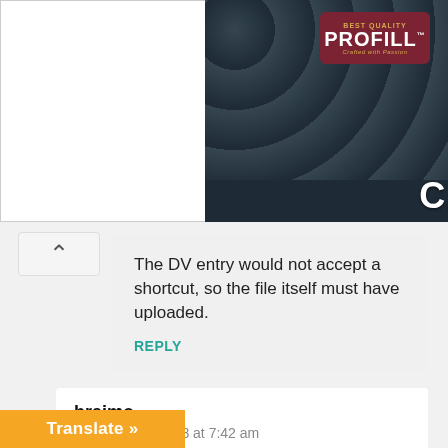[Figure (photo): Advertisement banner showing beer cans background with 'PROFILL' logo/badge and large text 'CAN LIKE A'. Left side has white rectangular box.]
The DV entry would not accept a shortcut, so the file itself must have uploaded.
REPLY
braimo
December 9, 2018 at 7:42 am
Greetings….brit
Its concerning the American DV lottery that i i did registered for, a couple of weeks ago. Am in my native country now where i registered, but i will be moving to Cyprus on to study by January to start a ree program. My question is will the
Translate »